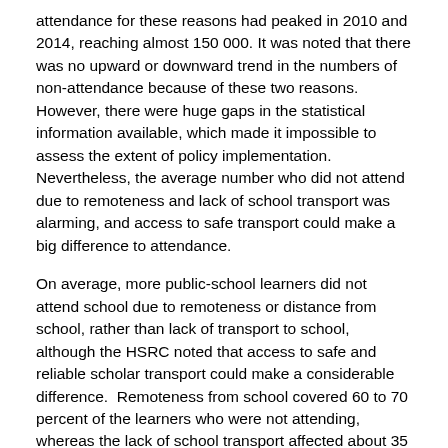attendance for these reasons had peaked in 2010 and 2014, reaching almost 150 000. It was noted that there was no upward or downward trend in the numbers of non-attendance because of these two reasons.  However, there were huge gaps in the statistical information available, which made it impossible to assess the extent of policy implementation. Nevertheless, the average number who did not attend due to remoteness and lack of school transport was alarming, and access to safe transport could make a big difference to attendance.
On average, more public-school learners did not attend school due to remoteness or distance from school, rather than lack of transport to school, although the HSRC noted that access to safe and reliable scholar transport could make a considerable difference.  Remoteness from school covered 60 to 70 percent of the learners who were not attending, whereas the lack of school transport affected about 35 to 40 percent. However, there was not a consistent or linear progression or increase, as it tended to peak and then slow down. Why this happened was very hard to assess from the existing StatsSA data.
The provincial picture suggested that the Eastern Cape, KwaZulu-Natal (KZN) and Gauteng were the provinces where reached 60 percent of the total number of non-attendance...